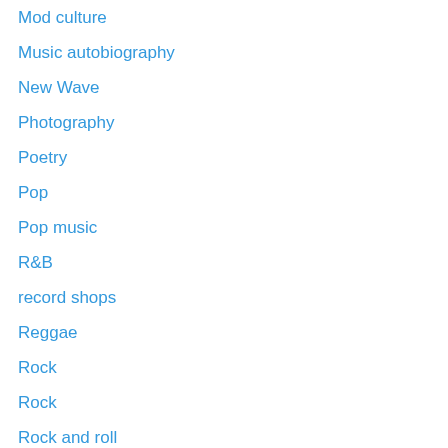Mod culture
Music autobiography
New Wave
Photography
Poetry
Pop
Pop music
R&B
record shops
Reggae
Rock
Rock
Rock and roll
Rock music
Rock Steady
Samba
Ska
Skiffle
Soul music